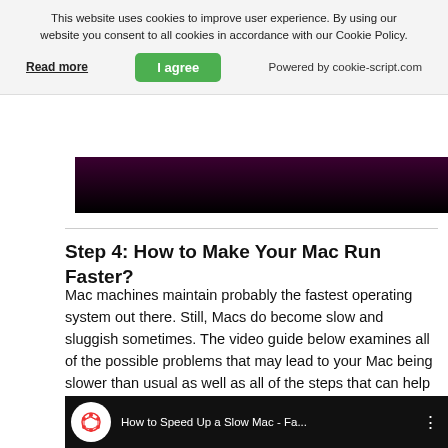This website uses cookies to improve user experience. By using our website you consent to all cookies in accordance with our Cookie Policy.
Read more | I agree | Powered by cookie-script.com
[Figure (screenshot): Top portion of a video thumbnail with dark purple to black gradient]
Step 4: How to Make Your Mac Run Faster?
Mac machines maintain probably the fastest operating system out there. Still, Macs do become slow and sluggish sometimes. The video guide below examines all of the possible problems that may lead to your Mac being slower than usual as well as all of the steps that can help you to speed up your Mac.
[Figure (screenshot): Bottom portion of a YouTube video thumbnail showing 'How to Speed Up a Slow Mac - Fa...' with a network/graph icon on white circle and three-dot menu]